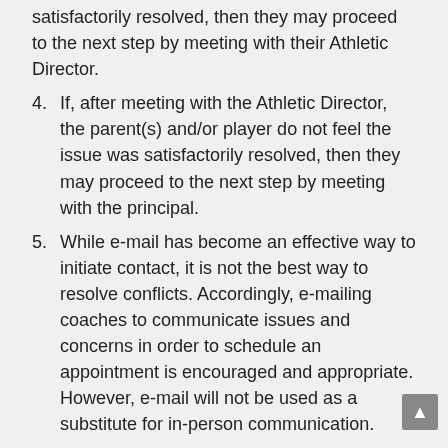(continuation) satisfactorily resolved, then they may proceed to the next step by meeting with their Athletic Director.
4. If, after meeting with the Athletic Director, the parent(s) and/or player do not feel the issue was satisfactorily resolved, then they may proceed to the next step by meeting with the principal.
5. While e-mail has become an effective way to initiate contact, it is not the best way to resolve conflicts. Accordingly, e-mailing coaches to communicate issues and concerns in order to schedule an appointment is encouraged and appropriate. However, e-mail will not be used as a substitute for in-person communication.
Parent Expectations
1. I will encourage good sportsmanship by demonstrating positive support for all players,